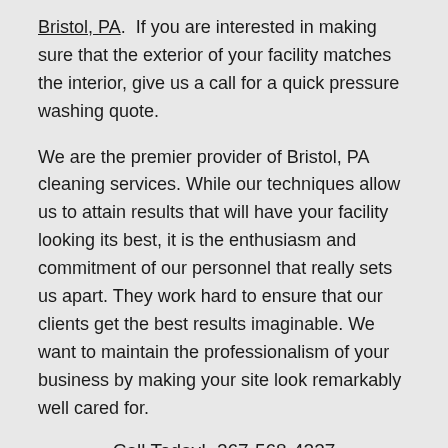Bristol, PA.  If you are interested in making sure that the exterior of your facility matches the interior, give us a call for a quick pressure washing quote.
We are the premier provider of Bristol, PA cleaning services. While our techniques allow us to attain results that will have your facility looking its best, it is the enthusiasm and commitment of our personnel that really sets us apart. They work hard to ensure that our clients get the best results imaginable. We want to maintain the professionalism of your business by making your site look remarkably well cared for.
Call Today!  267-568-4227